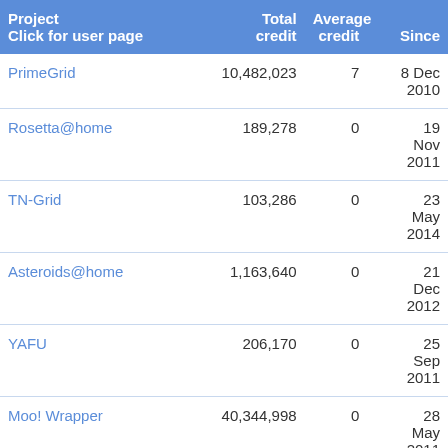| Project
Click for user page | Total credit | Average credit | Since |
| --- | --- | --- | --- |
| PrimeGrid | 10,482,023 | 7 | 8 Dec 2010 |
| Rosetta@home | 189,278 | 0 | 19 Nov 2011 |
| TN-Grid | 103,286 | 0 | 23 May 2014 |
| Asteroids@home | 1,163,640 | 0 | 21 Dec 2012 |
| YAFU | 206,170 | 0 | 25 Sep 2011 |
| Moo! Wrapper | 40,344,998 | 0 | 28 May 2011 |
| WUProp@Home | 245,001 | 0 | 29 |